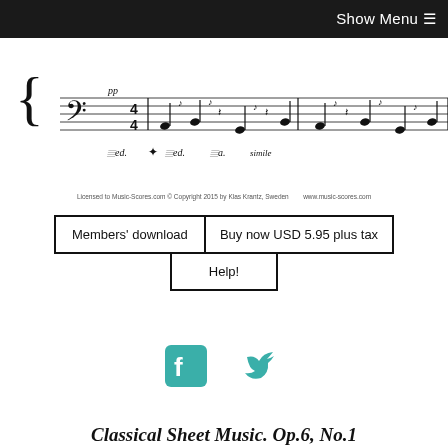Show Menu ☰
[Figure (other): Sheet music excerpt showing bass clef with notes, pp dynamic marking, pedal markings (Ped. simile), and musical notation on staff lines]
Licensed to Music-Scores.com © Copyright 2015 by Klas Krantz, Sweden    www.music-scores.com
Members' download
Buy now USD 5.95 plus tax
Help!
[Figure (other): Facebook and Twitter social media icons in teal/green color]
Classical Sheet Music. Op.6, No.1